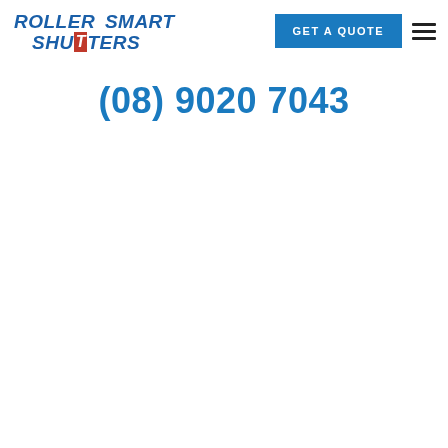[Figure (logo): Roller Smart Shutters logo — blue italic text with red highlighted T in SHUTTERS]
GET A QUOTE
(08) 9020 7043